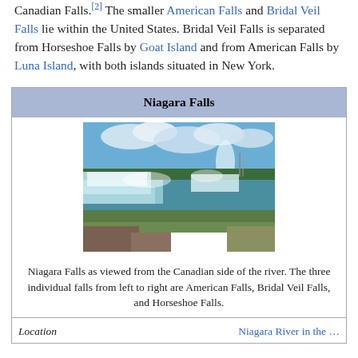Canadian Falls.[2] The smaller American Falls and Bridal Veil Falls lie within the United States. Bridal Veil Falls is separated from Horseshoe Falls by Goat Island and from American Falls by Luna Island, with both islands situated in New York.
| Niagara Falls |
| --- |
| [photo: Niagara Falls as viewed from the Canadian side] |
| Niagara Falls as viewed from the Canadian side of the river. The three individual falls from left to right are American Falls, Bridal Veil Falls, and Horseshoe Falls. |
| Location | Niagara River in the ... |